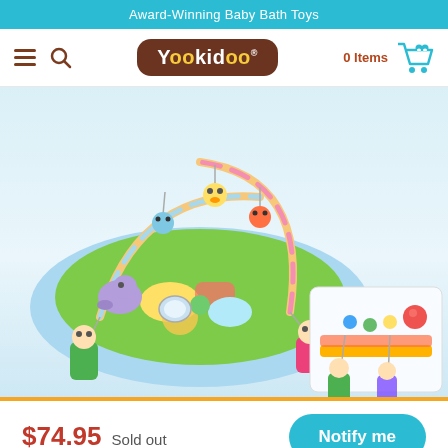Award-Winning Baby Bath Toys
[Figure (screenshot): Yookidoo brand navigation bar with hamburger menu, search icon, Yookidoo logo, and shopping cart showing 0 Items]
[Figure (photo): Colorful baby activity gym play mat with arches, hanging toy figures, and a second image showing a baby gym bar with toys. Product displayed on a light blue background.]
$74.95  Sold out
Notify me